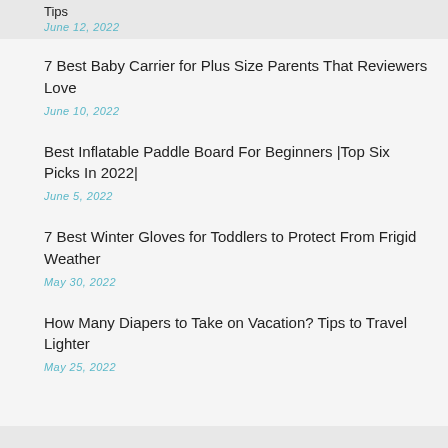Tips
June 12, 2022
7 Best Baby Carrier for Plus Size Parents That Reviewers Love
June 10, 2022
Best Inflatable Paddle Board For Beginners |Top Six Picks In 2022|
June 5, 2022
7 Best Winter Gloves for Toddlers to Protect From Frigid Weather
May 30, 2022
How Many Diapers to Take on Vacation? Tips to Travel Lighter
May 25, 2022